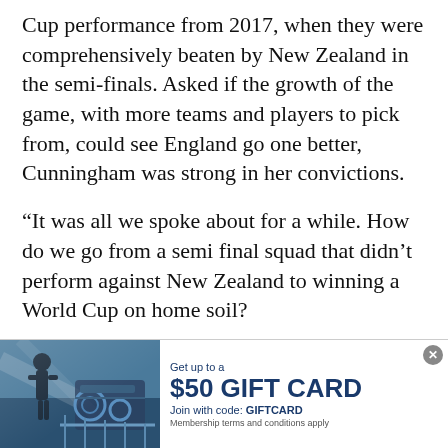Cup performance from 2017, when they were comprehensively beaten by New Zealand in the semi-finals. Asked if the growth of the game, with more teams and players to pick from, could see England go one better, Cunningham was strong in her convictions.
“It was all we spoke about for a while. How do we go from a semi final squad that didn’t perform against New Zealand to winning a World Cup on home soil?
“As athletes, we’ve done a lot on what it takes to win a World Cup, and so we’re in a much better
[Figure (photo): Advertisement banner with photo of athlete with equipment and text about a $50 gift card offer]
Get up to a $50 GIFT CARD Join with code: GIFTCARD Membership terms and conditions apply